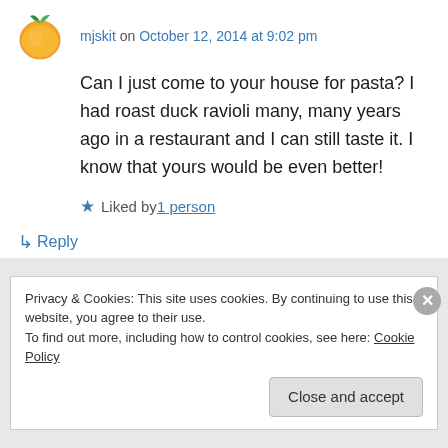mjskit on October 12, 2014 at 9:02 pm
Can I just come to your house for pasta? I had roast duck ravioli many, many years ago in a restaurant and I can still taste it. I know that yours would be even better!
Liked by 1 person
↳ Reply
Privacy & Cookies: This site uses cookies. By continuing to use this website, you agree to their use.
To find out more, including how to control cookies, see here: Cookie Policy
Close and accept